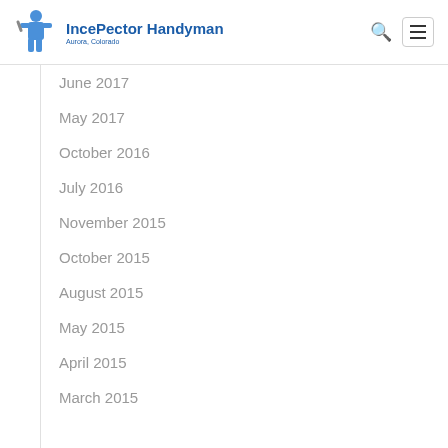IncePector Handyman
June 2017
May 2017
October 2016
July 2016
November 2015
October 2015
August 2015
May 2015
April 2015
March 2015